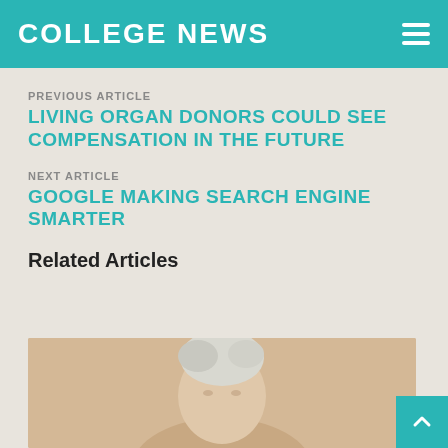COLLEGE NEWS
PREVIOUS ARTICLE
LIVING ORGAN DONORS COULD SEE COMPENSATION IN THE FUTURE
NEXT ARTICLE
GOOGLE MAKING SEARCH ENGINE SMARTER
Related Articles
[Figure (photo): Photo of an elderly person with white/gray hair, viewed from slightly above]